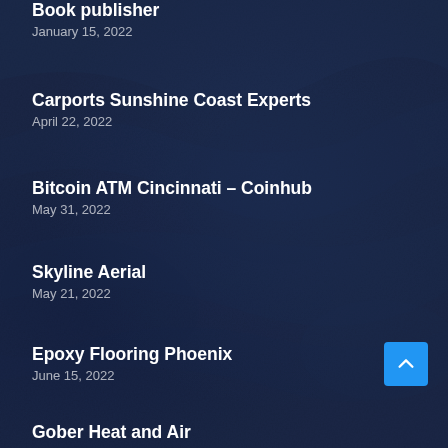Book publisher
January 15, 2022
Carports Sunshine Coast Experts
April 22, 2022
Bitcoin ATM Cincinnati – Coinhub
May 31, 2022
Skyline Aerial
May 21, 2022
Epoxy Flooring Phoenix
June 15, 2022
Gober Heat and Air